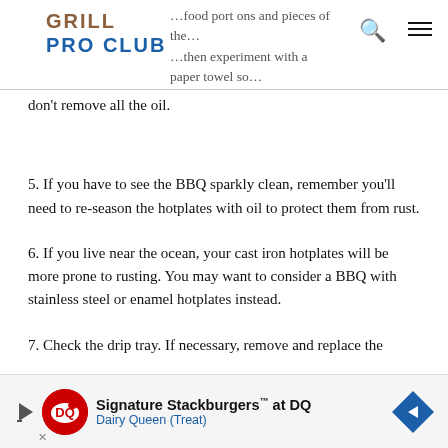GRILL PRO CLUB
don't remove all the oil.
5. If you have to see the BBQ sparkly clean, remember you'll need to re-season the hotplates with oil to protect them from rust.
6. If you live near the ocean, your cast iron hotplates will be more prone to rusting. You may want to consider a BBQ with stainless steel or enamel hotplates instead.
7. Check the drip tray. If necessary, remove and replace the
[Figure (infographic): Dairy Queen advertisement banner: Signature Stackburgers at DQ, Dairy Queen (Treat) with DQ logo and navigation arrow icon]